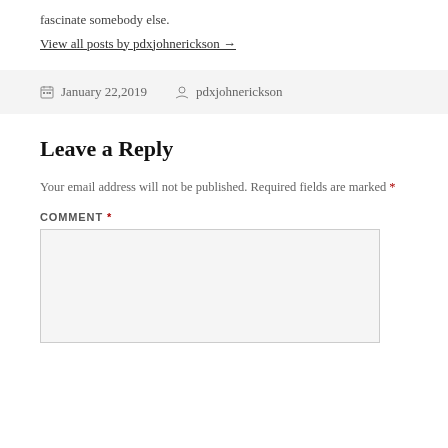fascinate somebody else.
View all posts by pdxjohnerickson →
January 22,2019   pdxjohnerickson
Leave a Reply
Your email address will not be published. Required fields are marked *
COMMENT *